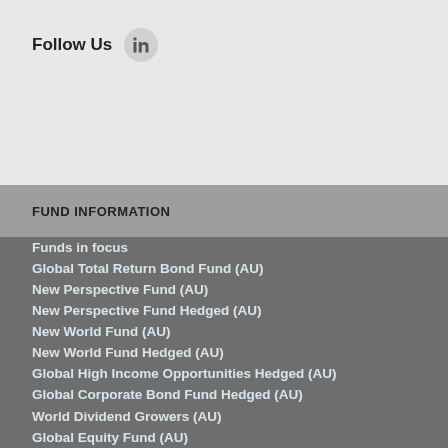Follow Us
FUND INFORMATION
Funds in focus
Global Total Return Bond Fund (AU)
New Perspective Fund (AU)
New Perspective Fund Hedged (AU)
New World Fund (AU)
New World Fund Hedged (AU)
Global High Income Opportunities Hedged (AU)
Global Corporate Bond Fund Hedged (AU)
World Dividend Growers (AU)
Global Equity Fund (AU)